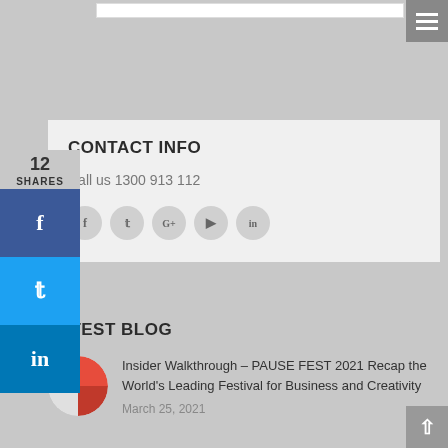CONTACT INFO
Call us 1300 913 112
[Figure (other): Social media icon circles: Facebook (f), Twitter (bird), Google+ (G+), YouTube (play), LinkedIn (in)]
LATEST BLOG
[Figure (other): Circular thumbnail image for blog post - red and white design with text]
Insider Walkthrough – PAUSE FEST 2021 Recap the World's Leading Festival for Business and Creativity
March 25, 2021